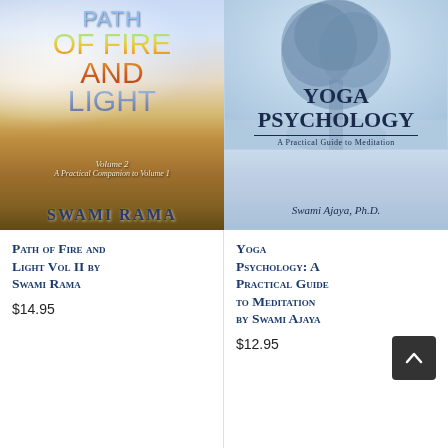[Figure (photo): Book cover of 'Path of Fire and Light Volume 2, A Practical Companion to Volume 1' by Swami Rama. Colorful cover with fire and light imagery, clouds in background.]
Path of Fire and Light Vol II by Swami Rama
$14.95
[Figure (photo): Book cover of 'Yoga Psychology: A Practical Guide to Meditation' by Swami Ajaya, Ph.D. Blue-toned cover with tree silhouette.]
Yoga Psychology: A Practical Guide to Meditation by Swami Ajaya
$12.95